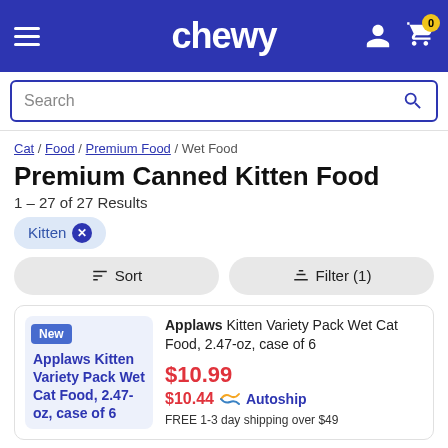chewy
Search
Cat / Food / Premium Food / Wet Food
Premium Canned Kitten Food
1 – 27 of 27 Results
Kitten ×
Sort   Filter (1)
New
Applaws Kitten Variety Pack Wet Cat Food, 2.47-oz, case of 6
$10.99
$10.44 Autoship
FREE 1-3 day shipping over $49